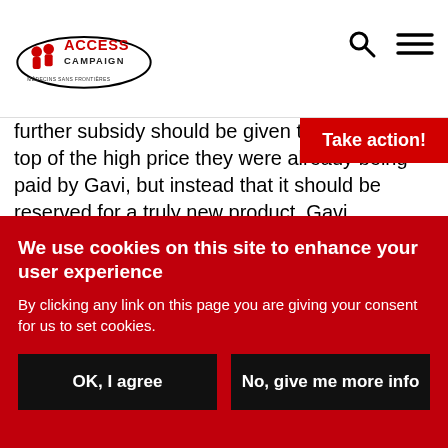ACCESS CAMPAIGN — Médecins Sans Frontières
further subsidy should be given to P[fizer on] top of the high price they were already being paid by Gavi, but instead that it should be reserved for a truly new product. Gavi, however, had already locked itself into a flawed AMC fund design and ended up awarding more than $1.2 billion to Pfizer and GSK in extra subsidy – icing on the cake of the $56 billion that these [companies…]
Take action!
We use cookies on this site to enhance your user experience
By clicking any link on this page you are giving your consent for us to set cookies.
OK, I agree
No, give me more info